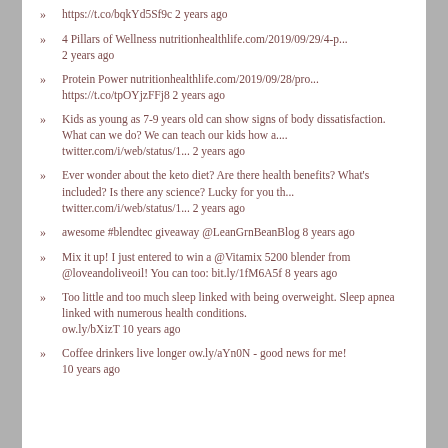https://t.co/bqkYd5Sf9c 2 years ago
4 Pillars of Wellness nutritionhealthlife.com/2019/09/29/4-p... 2 years ago
Protein Power nutritionhealthlife.com/2019/09/28/pro... https://t.co/tpOYjzFFj8 2 years ago
Kids as young as 7-9 years old can show signs of body dissatisfaction. What can we do? We can teach our kids how a.... twitter.com/i/web/status/1... 2 years ago
Ever wonder about the keto diet? Are there health benefits? What's included? Is there any science? Lucky for you th... twitter.com/i/web/status/1... 2 years ago
awesome #blendtec giveaway @LeanGrnBeanBlog 8 years ago
Mix it up! I just entered to win a @Vitamix 5200 blender from @loveandoliveoil! You can too: bit.ly/1fM6A5f 8 years ago
Too little and too much sleep linked with being overweight. Sleep apnea linked with numerous health conditions. ow.ly/bXizT 10 years ago
Coffee drinkers live longer ow.ly/aYn0N - good news for me! 10 years ago